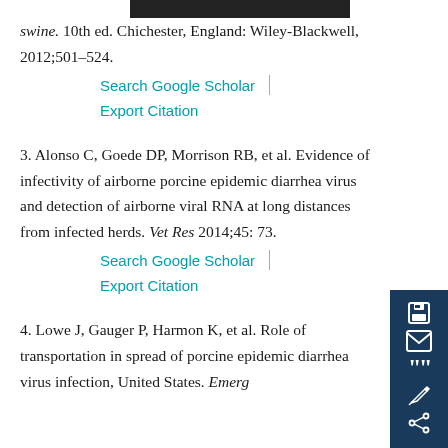swine. 10th ed. Chichester, England: Wiley-Blackwell, 2012;501–524.
Search Google Scholar | Export Citation
3. Alonso C, Goede DP, Morrison RB, et al. Evidence of infectivity of airborne porcine epidemic diarrhea virus and detection of airborne viral RNA at long distances from infected herds. Vet Res 2014;45: 73.
Search Google Scholar | Export Citation
4. Lowe J, Gauger P, Harmon K, et al. Role of transportation in spread of porcine epidemic diarrhea virus infection, United States. Emerg